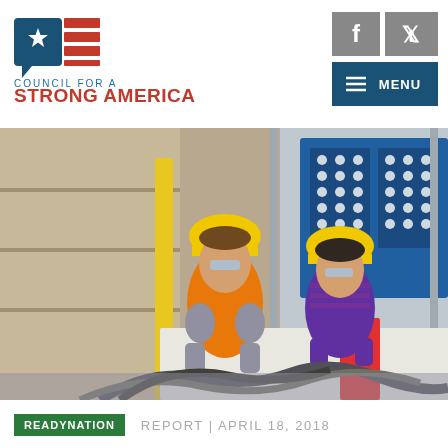[Figure (logo): Council for a Strong America logo with American flag icon (speech bubble with star and red stripes) and organization name in blue and red text]
[Figure (other): Facebook and Twitter social media icon buttons in gray, and a dark blue MENU button with hamburger icon]
[Figure (photo): Two workers in yellow hard hats in an industrial factory setting. One wears an orange safety vest. They are examining machinery with cables and industrial equipment and blue control panels in the background.]
READYNATION  REPORT | APRIL 18, 2018